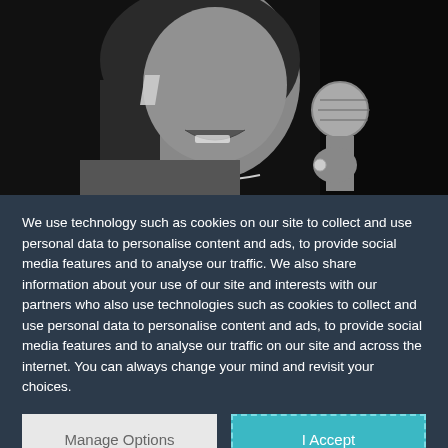[Figure (photo): Black and white photo of a woman singing into a microphone, wearing dangling earrings, cropped to show face and upper body against a dark background.]
We use technology such as cookies on our site to collect and use personal data to personalise content and ads, to provide social media features and to analyse our traffic. We also share information about your use of our site and interests with our partners who also use technologies such as cookies to collect and use personal data to personalise content and ads, to provide social media features and to analyse our traffic on our site and across the internet. You can always change your mind and revisit your choices.
Manage Options
I Accept